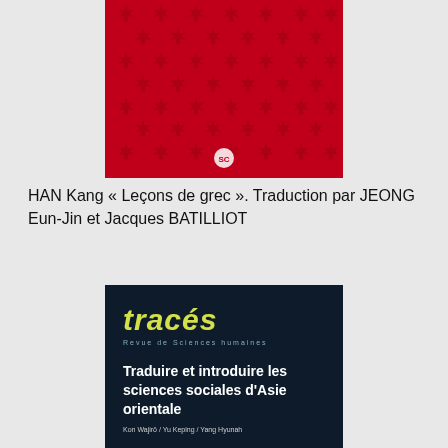[Figure (illustration): Book cover with red background and maple leaf pattern, small circular logo at bottom center]
HAN Kang « Leçons de grec ». Traduction par JEONG Eun-Jin et Jacques BATILLIOT
[Figure (illustration): Book cover for 'tracés – Revue de Sciences humaines' on dark navy background. Title: 'Traduire et introduire les sciences sociales d'Asie orientale'. Authors: Kon Wajirō / Yu Keping / Yang Hyunah]